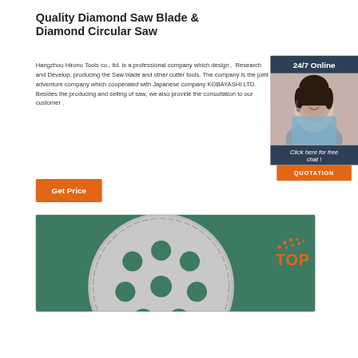Quality Diamond Saw Blade & Diamond Circular Saw
Hangzhou Hirono Tools co., ltd. is a professional company which design、Research and Develop, producing the Saw blade and other cutter tools. The company is the joint adventure company which cooperated with Japanese company KOBAYASHI LTD. Besides the producing and selling of saw, we also provide the consultation to our customer .
[Figure (photo): Customer service representative with headset, 24/7 Online chat widget with 'Click here for free chat!' and QUOTATION button]
[Figure (photo): Close-up photo of a diamond saw blade on a green background, showing circular blade with holes, with a TOP badge overlay]